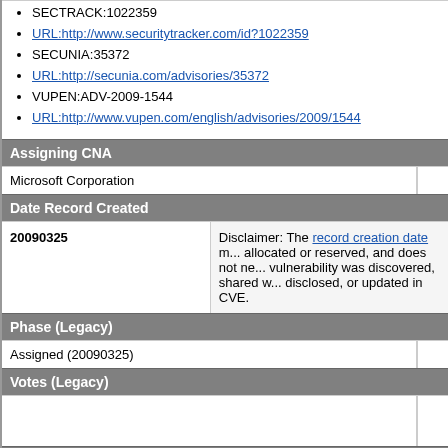SECTRACK:1022359
URL:http://www.securitytracker.com/id?1022359
SECUNIA:35372
URL:http://secunia.com/advisories/35372
VUPEN:ADV-2009-1544
URL:http://www.vupen.com/english/advisories/2009/1544
Assigning CNA
Microsoft Corporation
Date Record Created
20090325
Disclaimer: The record creation date may reflect when the CVE ID was allocated or reserved, and does not necessarily indicate when this vulnerability was discovered, shared with the affected vendor, publicly disclosed, or updated in CVE.
Phase (Legacy)
Assigned (20090325)
Votes (Legacy)
Comments (Legacy)
Proposed (Legacy)